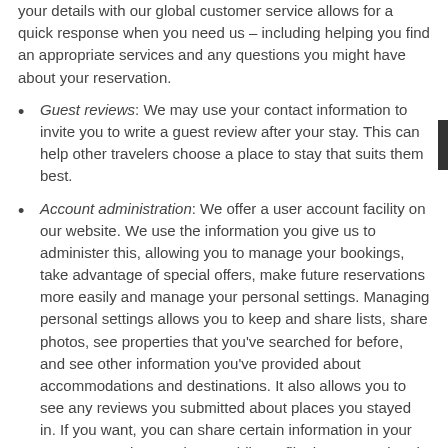your details with our global customer service allows for a quick response when you need us – including helping you find an appropriate services and any questions you might have about your reservation.
Guest reviews: We may use your contact information to invite you to write a guest review after your stay. This can help other travelers choose a place to stay that suits them best.
Account administration: We offer a user account facility on our website. We use the information you give us to administer this, allowing you to manage your bookings, take advantage of special offers, make future reservations more easily and manage your personal settings. Managing personal settings allows you to keep and share lists, share photos, see properties that you've searched for before, and see other information you've provided about accommodations and destinations. It also allows you to see any reviews you submitted about places you stayed in. If you want, you can share certain information in your user account by creating a public profile that's associated with either your